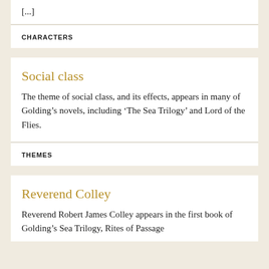[...]
CHARACTERS
Social class
The theme of social class, and its effects, appears in many of Golding’s novels, including ‘The Sea Trilogy’ and Lord of the Flies.
THEMES
Reverend Colley
Reverend Robert James Colley appears in the first book of Golding’s Sea Trilogy, Rites of Passage